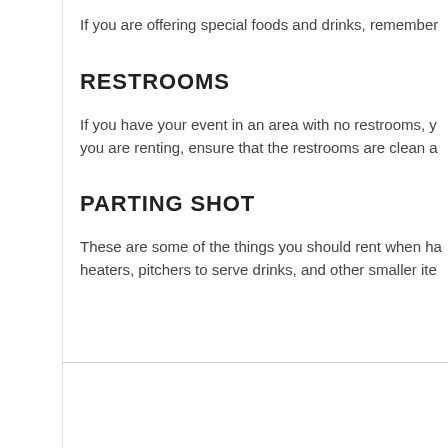If you are offering special foods and drinks, remember
RESTROOMS
If you have your event in an area with no restrooms, y you are renting, ensure that the restrooms are clean a
PARTING SHOT
These are some of the things you should rent when ha heaters, pitchers to serve drinks, and other smaller ite